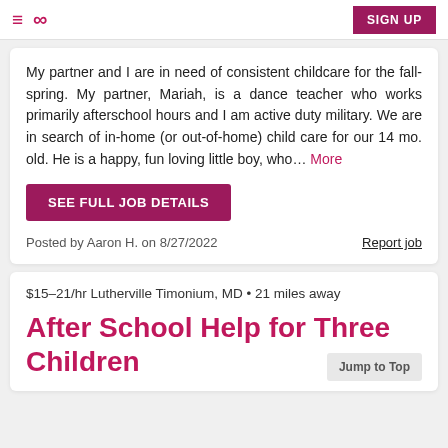≡  ∞  SIGN UP
My partner and I are in need of consistent childcare for the fall-spring. My partner, Mariah, is a dance teacher who works primarily afterschool hours and I am active duty military. We are in search of in-home (or out-of-home) child care for our 14 mo. old. He is a happy, fun loving little boy, who... More
SEE FULL JOB DETAILS
Posted by Aaron H. on 8/27/2022
Report job
$15–21/hr Lutherville Timonium, MD • 21 miles away
After School Help for Three Children